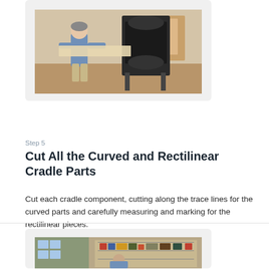[Figure (photo): Man using a bandsaw to cut a large board in a woodworking workshop]
Step 5
Cut All the Curved and Rectilinear Cradle Parts
Cut each cradle component, cutting along the trace lines for the curved parts and carefully measuring and marking for the rectilinear pieces.
[Figure (photo): Man working at a woodworking bench in a workshop with shelves of supplies in the background]